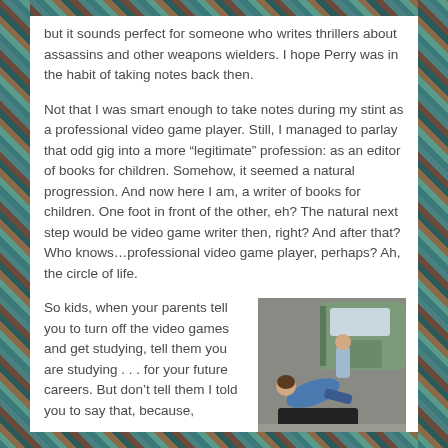but it sounds perfect for someone who writes thrillers about assassins and other weapons wielders. I hope Perry was in the habit of taking notes back then.
Not that I was smart enough to take notes during my stint as a professional video game player. Still, I managed to parlay that odd gig into a more “legitimate” profession: as an editor of books for children. Somehow, it seemed a natural progression. And now here I am, a writer of books for children. One foot in front of the other, eh? The natural next step would be video game writer then, right? And after that? Who knows…professional video game player, perhaps? Ah, the circle of life.
So kids, when your parents tell you to turn off the video games and get studying, tell them you are studying . . . for your future careers. But don’t tell them I told you to say that, because,
[Figure (photo): A photo showing a person being pushed or falling near a car, with a green/grey car door open and a person in a blue shirt being shoved onto what appears to be a black mat or surface on the ground.]